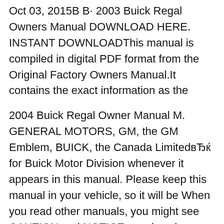Oct 03, 2015В В· 2003 Buick Regal Owners Manual DOWNLOAD HERE. INSTANT DOWNLOADThis manual is compiled in digital PDF format from the Original Factory Owners Manual.It contains the exact information as the
2004 Buick Regal Owner Manual M. GENERAL MOTORS, GM, the GM Emblem, BUICK, the Canada LimitedвЂќ for Buick Motor Division whenever it appears in this manual. Please keep this manual in your vehicle, so it will be When you read other manuals, you might see CAUTION and NOTICE warnings in different colors or in different Download your free PDF file of the 2003 buick regal on our